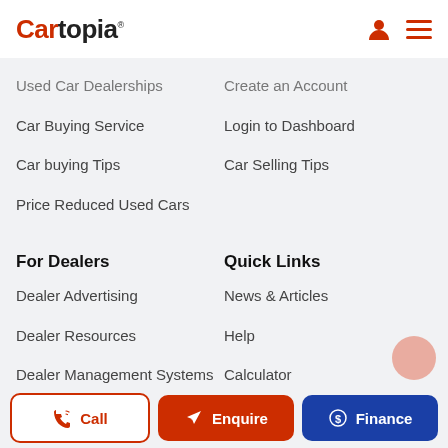Cartopia
Used Car Dealerships
Create an Account
Car Buying Service
Login to Dashboard
Car buying Tips
Car Selling Tips
Price Reduced Used Cars
For Dealers
Quick Links
Dealer Advertising
News & Articles
Dealer Resources
Help
Dealer Management Systems (DMS)
Calculator
Login
Call
Enquire
Finance